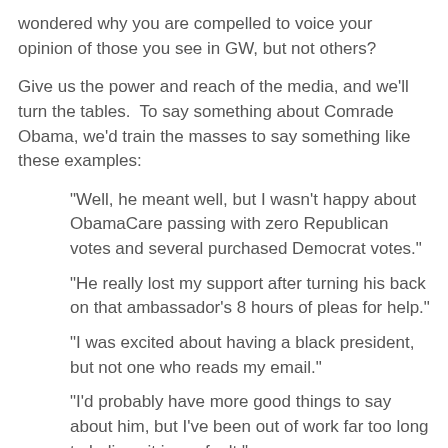wondered why you are compelled to voice your opinion of those you see in GW, but not others?
Give us the power and reach of the media, and we'll turn the tables.  To say something about Comrade Obama, we'd train the masses to say something like these examples:
"Well, he meant well, but I wasn't happy about ObamaCare passing with zero Republican votes and several purchased Democrat votes."
"He really lost my support after turning his back on that ambassador's 8 hours of pleas for help."
"I was excited about having a black president, but not one who reads my email."
"I'd probably have more good things to say about him, but I've been out of work far too long to believe it is my fault."